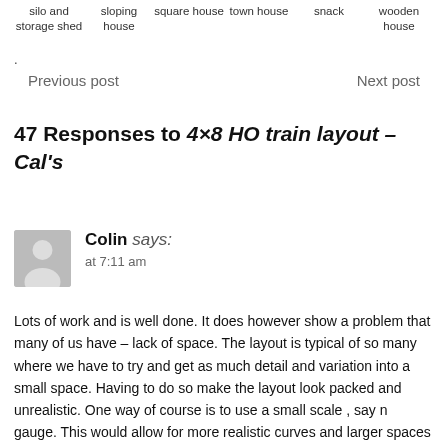silo and storage shed   sloping house   square house   town house   snack   wooden house
.
Previous post   Next post
47 Responses to 4×8 HO train layout – Cal's
Colin says: at 7:11 am
Lots of work and is well done. It does however show a problem that many of us have – lack of space. The layout is typical of so many where we have to try and get as much detail and variation into a small space. Having to do so make the layout look packed and unrealistic. One way of course is to use a small scale , say n gauge. This would allow for more realistic curves and larger spaces between areas I.e countryside and town. Although this helps one ,I think has to decide what you want to achieve realism or just have the enjoyment of building a layout. Realism unfortunately does